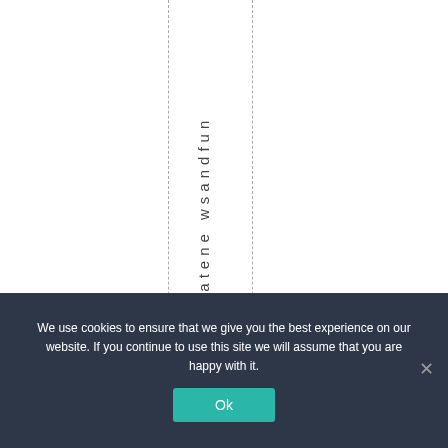alclimatene wsandfun
We use cookies to ensure that we give you the best experience on our website. If you continue to use this site we will assume that you are happy with it. Ok